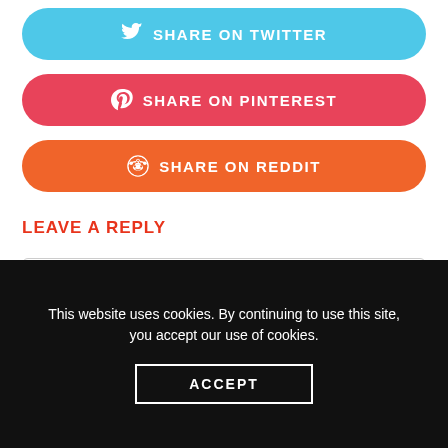[Figure (other): Share on Twitter button — cyan rounded rectangle with Twitter bird icon]
[Figure (other): Share on Pinterest button — red-pink rounded rectangle with Pinterest P icon]
[Figure (other): Share on Reddit button — orange rounded rectangle with Reddit alien icon]
LEAVE A REPLY
Write your comment here...
This website uses cookies. By continuing to use this site, you accept our use of cookies.
ACCEPT